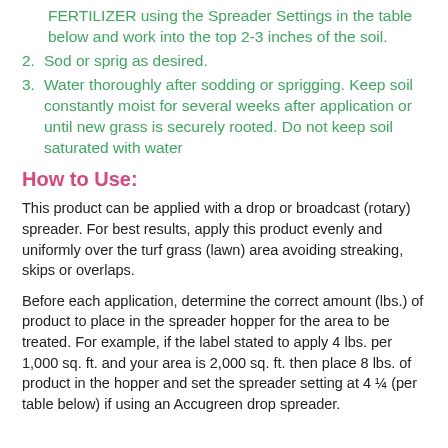FERTILIZER using the Spreader Settings in the table below and work into the top 2-3 inches of the soil.
2. Sod or sprig as desired.
3. Water thoroughly after sodding or sprigging. Keep soil constantly moist for several weeks after application or until new grass is securely rooted. Do not keep soil saturated with water
How to Use:
This product can be applied with a drop or broadcast (rotary) spreader. For best results, apply this product evenly and uniformly over the turf grass (lawn) area avoiding streaking, skips or overlaps.
Before each application, determine the correct amount (lbs.) of product to place in the spreader hopper for the area to be treated. For example, if the label stated to apply 4 lbs. per 1,000 sq. ft. and your area is 2,000 sq. ft. then place 8 lbs. of product in the hopper and set the spreader setting at 4 ¼ (per table below) if using an Accugreen drop spreader.